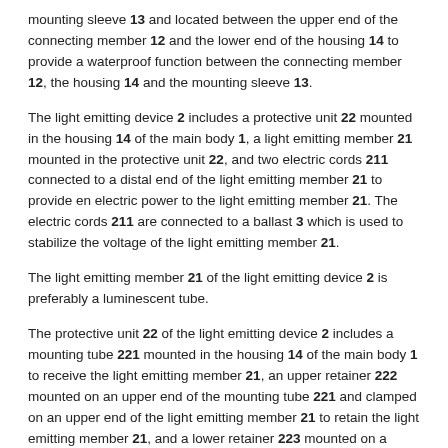mounting sleeve 13 and located between the upper end of the connecting member 12 and the lower end of the housing 14 to provide a waterproof function between the connecting member 12, the housing 14 and the mounting sleeve 13.
The light emitting device 2 includes a protective unit 22 mounted in the housing 14 of the main body 1, a light emitting member 21 mounted in the protective unit 22, and two electric cords 211 connected to a distal end of the light emitting member 21 to provide en electric power to the light emitting member 21. The electric cords 211 are connected to a ballast 3 which is used to stabilize the voltage of the light emitting member 21.
The light emitting member 21 of the light emitting device 2 is preferably a luminescent tube.
The protective unit 22 of the light emitting device 2 includes a mounting tube 221 mounted in the housing 14 of the main body 1 to receive the light emitting member 21, an upper retainer 222 mounted on an upper end of the mounting tube 221 and clamped on an upper end of the light emitting member 21 to retain the light emitting member 21, and a lower retainer 223 mounted on a lower end of the mounting tube 221 and clamped on a lower end of the light emitting member 21 to retain the light emitting member 21. The mounting tube 221 of the protective unit 22 is made of transparent material. The upper retainer 222 of the protective unit 22 has a lower end